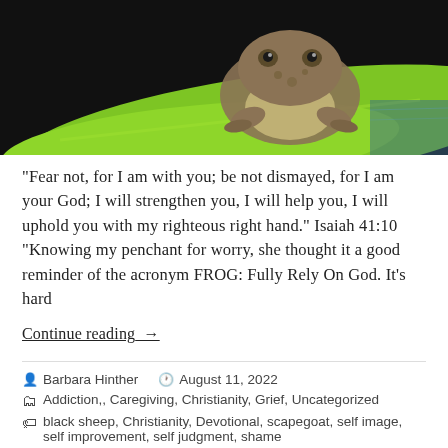[Figure (photo): Close-up photo of a frog sitting on a bright green leaf against a dark background]
“Fear not, for I am with you; be not dismayed, for I am your God; I will strengthen you, I will help you, I will uphold you with my righteous right hand.” Isaiah 41:10 “Knowing my penchant for worry, she thought it a good reminder of the acronym FROG: Fully Rely On God. It’s hard
Continue reading  →
Barbara Hinther   August 11, 2022
Addiction,, Caregiving, Christianity, Grief, Uncategorized
black sheep, Christianity, Devotional, scapegoat, self image, self improvement, self judgment, shame